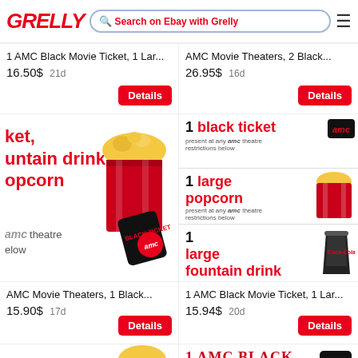GRELLY — Search on Ebay with Grelly
1 AMC Black Movie Ticket, 1 Lar... 16.50$ 21d
AMC Movie Theaters, 2 Black... 26.95$ 16d
[Figure (photo): AMC movie theater ticket bundle promotional image showing black ticket, fountain drink, and popcorn with red AMC branding]
[Figure (photo): AMC promotional bundle showing 1 black ticket, 1 large popcorn, 1 large fountain drink items with AMC red branding and Coca-Cola cup]
AMC Movie Theaters, 1 Black... 15.90$ 17d
1 AMC Black Movie Ticket, 1 Lar... 15.94$ 20d
[Figure (photo): Partially visible AMC popcorn bundle promotional image at bottom left]
[Figure (photo): Partially visible 1 AMC Black Ticket promotional image at bottom right]